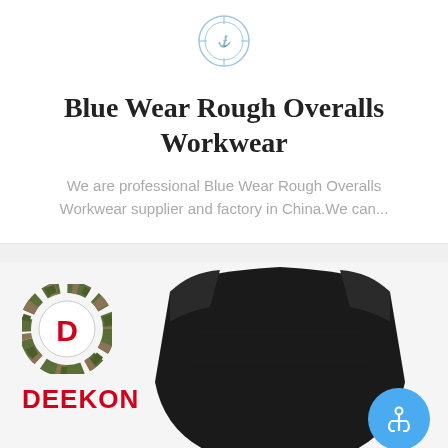[Figure (logo): Small circular logo icon with anchor/compass design at top of page]
Blue Wear Rough Overalls Workwear
We are professional Blue Wear Rough Overalls Workwear supplier and factory in China.We can...
[Figure (photo): Product photo showing a black ballistic armor plate with DEEKON brand logo (circular camo pattern with D) and DEEKON text in red, plus blue anchor button in bottom right]